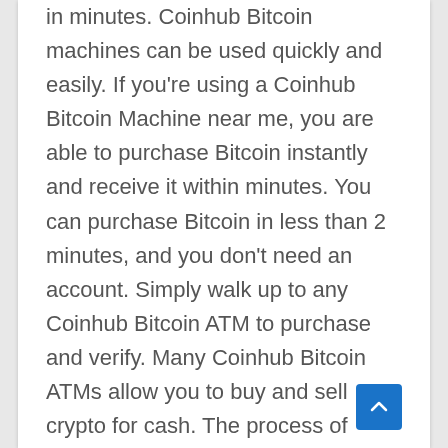in minutes. Coinhub Bitcoin machines can be used quickly and easily. If you're using a Coinhub Bitcoin Machine near me, you are able to purchase Bitcoin instantly and receive it within minutes. You can purchase Bitcoin in less than 2 minutes, and you don't need an account. Simply walk up to any Coinhub Bitcoin ATM to purchase and verify. Many Coinhub Bitcoin ATMs allow you to buy and sell crypto for cash. The process of buying Bitcoin using one of our Bitcoin ATMs is as follows: First locate the closest Bitcoin ATM near you in your city by visiting our Coinhub Bitcoin ATM Locator. Enter your phone number and walk up to the machine. The machine will verify your phone using a code and scan the bitcoin wallet. Enter each bill one at a time to determine the amount you wish to purchase. After that, confirm the purchase by entering the bitcoin atm. Bitcoin is then instantly sent to your wallet. The daily buying limit is $25,000. There are